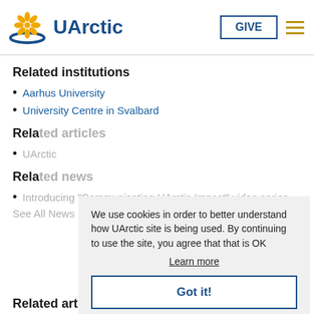UArctic — GIVE (button) — hamburger menu
Related institutions
Aarhus University
University Centre in Svalbard
Related articles (partially obscured)
UArctic (partially obscured)
Related news (partially obscured)
Introducing "Communicating UArctic Impact" video series (partially obscured)
See All News (partially obscured)
We use cookies in order to better understand how UArctic site is being used. By continuing to use the site, you agree that that is OK
Learn more
Got it!
Related articles (bottom, partially visible)